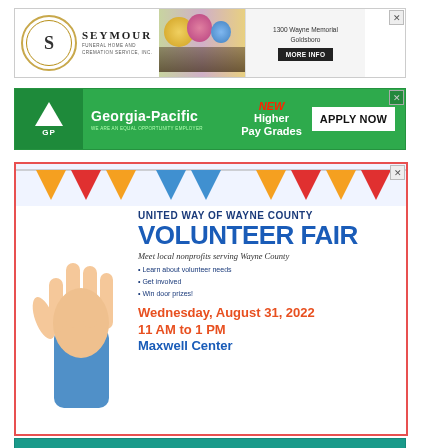[Figure (infographic): Seymour Funeral Home and Cremation Service advertisement. Logo with S monogram, flower photo, address: 1300 Wayne Memorial, Goldsboro, MORE INFO button.]
[Figure (infographic): Georgia-Pacific advertisement with green background, GP triangle logo, text: NEW Higher Pay Grades, APPLY NOW button, WE ARE AN EQUAL OPPORTUNITY EMPLOYER.]
[Figure (infographic): United Way of Wayne County Volunteer Fair advertisement. Bunting decoration, raised hand illustration. Text: UNITED WAY OF WAYNE COUNTY, VOLUNTEER FAIR, Meet local nonprofits serving Wayne County, Learn about volunteer needs, Get involved, Win door prizes!, Wednesday, August 31, 2022, 11 AM to 1 PM, Maxwell Center. Red border.]
[Figure (infographic): Partial teal advertisement visible at bottom of page.]